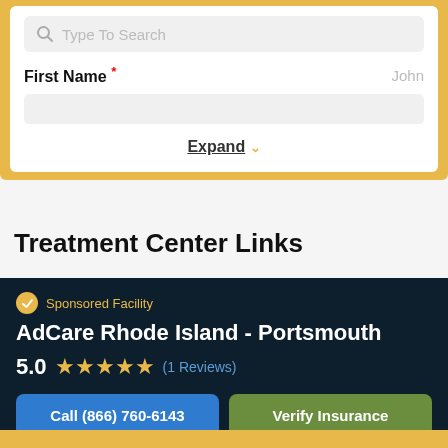[Figure (screenshot): Search input field with magnifying glass icon and placeholder text 'Type To Search']
First Name * John
Expand
Treatment Center Links
Sponsored Facility
AdCare Rhode Island - Portsmouth
5.0 (1 Reviews)
Call (866) 760-6143
Verify Insurance
Helpline Information